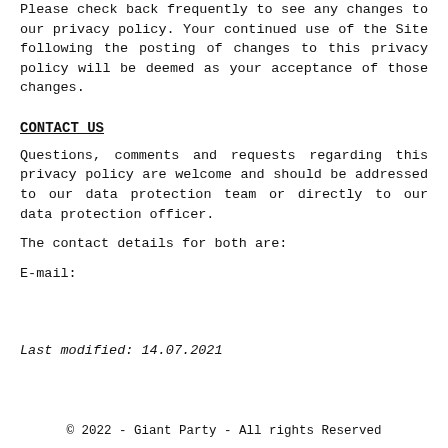Please check back frequently to see any changes to our privacy policy. Your continued use of the Site following the posting of changes to this privacy policy will be deemed as your acceptance of those changes.
CONTACT US
Questions, comments and requests regarding this privacy policy are welcome and should be addressed to our data protection team or directly to our data protection officer.
The contact details for both are:
E-mail:
Last modified: 14.07.2021
© 2022 - Giant Party - All rights Reserved